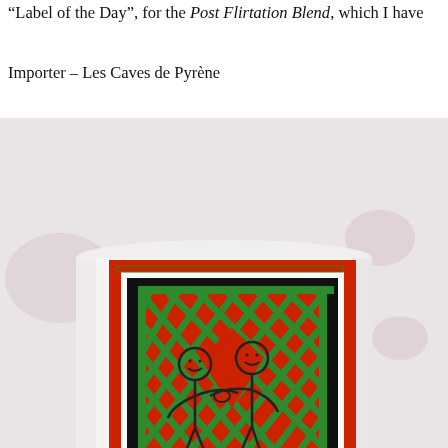“Label of the Day”, for the Post Flirtation Blend, which I have
Importer – Les Caves de Pyrène
[Figure (photo): A photograph of a wine bottle showing a decorative label featuring two simple cartoon human figures embracing or dancing, set against a folk-art patterned background with red, green, and black geometric designs reminiscent of traditional textile patterns.]